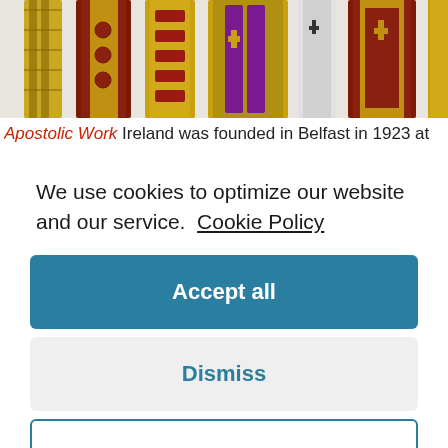[Figure (photo): Several decorative liturgical stoles displayed side by side against a light background. The stoles feature various colors and embroidery patterns including gold, red, and white designs.]
Apostolic Work Ireland was founded in Belfast in 1923 at a
We use cookies to optimize our website and our service. Cookie Policy
Accept all
Dismiss
Preferences
1963, that the Inaugural Meeting of a branch of the Apostolic